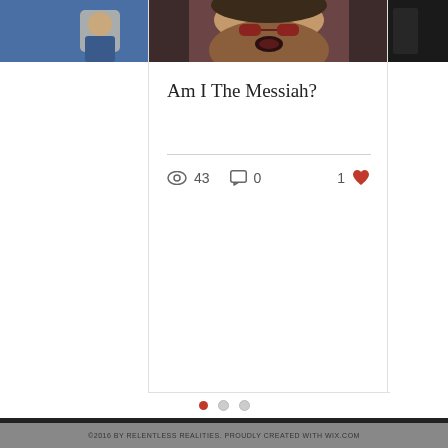[Figure (screenshot): Blog post card showing a photo of a person, title 'Am I The Messiah?', 43 views, 0 comments, 1 like]
Am I The Messiah?
43  0  1
[Figure (infographic): Carousel navigation dots: three dots, first one red/active, two grey]
©2016 BY RELENTLESS REALITIES. PROUDLY CREATED WITH WIX.COM
roy@relentless-realities.com
[Figure (infographic): Social media icons: Facebook, Twitter, LinkedIn in white on dark background]